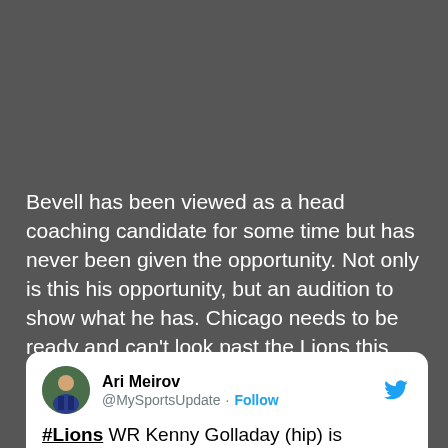Bevell has been viewed as a head coaching candidate for some time but has never been given the opportunity. Not only is this his opportunity, but an audition to show what he has. Chicago needs to be ready and can't look past the Lions this weekend. Look what happened to Atlanta when they made the move from Dan Quinn to Raheem Morris. The Lions are talented enough for a similar outcome.
[Figure (screenshot): Embedded tweet from @MySportsUpdate (Ari Meirov) with Twitter bird logo, profile photo, name, handle, Follow button, and tweet text beginning: '#Lions WR Kenny Golladay (hip) is officially out for Sunday's game vs. the #Bears, his fifth straight...']